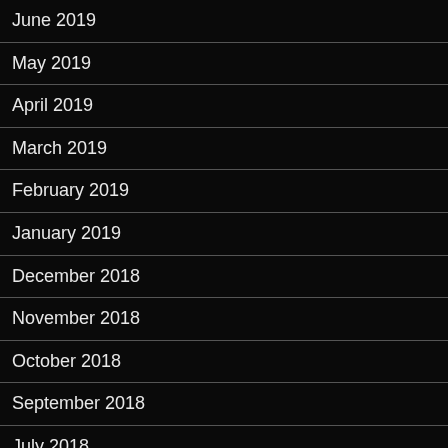June 2019
May 2019
April 2019
March 2019
February 2019
January 2019
December 2018
November 2018
October 2018
September 2018
July 2018
June 2018
May 2018